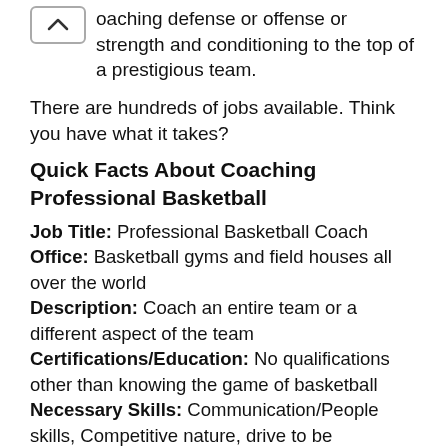coaching defense or offense or strength and conditioning to the top of a prestigious team.
There are hundreds of jobs available. Think you have what it takes?
Quick Facts About Coaching Professional Basketball
Job Title: Professional Basketball Coach
Office: Basketball gyms and field houses all over the world
Description: Coach an entire team or a different aspect of the team
Certifications/Education: No qualifications other than knowing the game of basketball
Necessary Skills: Communication/People skills, Competitive nature, drive to be successful, knowledge of the game of basketball
Potential Employers: Professional leagues all over the world